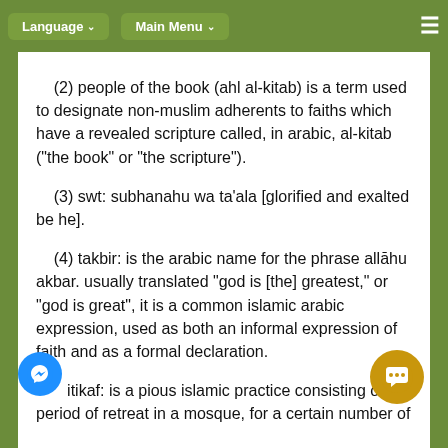Language ∨   Main Menu ∨   ≡
(2) people of the book (ahl al-kitab) is a term used to designate non-muslim adherents to faiths which have a revealed scripture called, in arabic, al-kitab ("the book" or "the scripture").
(3) swt: subhanahu wa ta'ala [glorified and exalted be he].
(4) takbir: is the arabic name for the phrase allāhu akbar. usually translated "god is [the] greatest," or "god is great", it is a common islamic arabic expression, used as both an informal expression of faith and as a formal declaration.
(5) itikaf: is a pious islamic practice consisting of a period of retreat in a mosque, for a certain number of